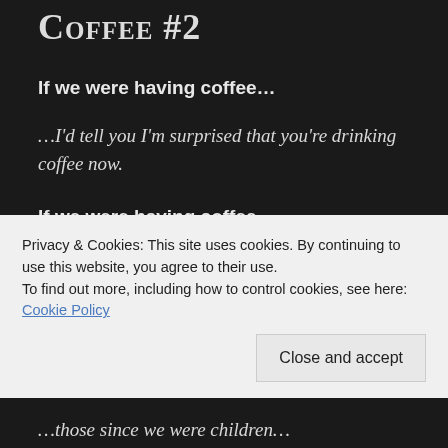Coffee #2
If we were having coffee…
…I'd tell you I'm surprised that you're drinking coffee now.
If we were having coffee…
…I'd tell you it's nice catching up with each other's
Privacy & Cookies: This site uses cookies. By continuing to use this website, you agree to their use.
To find out more, including how to control cookies, see here: Cookie Policy
Close and accept